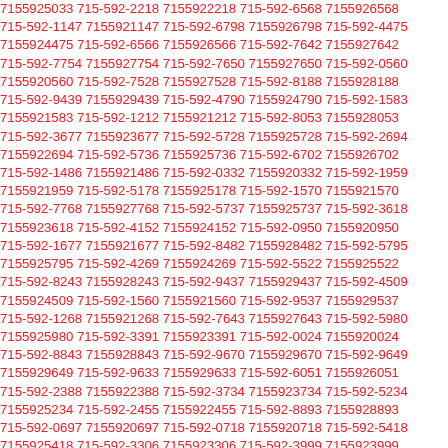7155925033 715-592-2218 7155922218 715-592-6568 7155926568 715-592-1147 7155921147 715-592-6798 7155926798 715-592-4475 7155924475 715-592-6566 7155926566 715-592-7642 7155927642 715-592-7754 7155927754 715-592-7650 7155927650 715-592-0560 7155920560 715-592-7528 7155927528 715-592-8188 7155928188 715-592-9439 7155929439 715-592-4790 7155924790 715-592-1583 7155921583 715-592-1212 7155921212 715-592-8053 7155928053 715-592-3677 7155923677 715-592-5728 7155925728 715-592-2694 7155922694 715-592-5736 7155925736 715-592-6702 7155926702 715-592-1486 7155921486 715-592-0332 7155920332 715-592-1959 7155921959 715-592-5178 7155925178 715-592-1570 7155921570 715-592-7768 7155927768 715-592-5737 7155925737 715-592-3618 7155923618 715-592-4152 7155924152 715-592-0950 7155920950 715-592-1677 7155921677 715-592-8482 7155928482 715-592-5795 7155925795 715-592-4269 7155924269 715-592-5522 7155925522 715-592-8243 7155928243 715-592-9437 7155929437 715-592-4509 7155924509 715-592-1560 7155921560 715-592-9537 7155929537 715-592-1268 7155921268 715-592-7643 7155927643 715-592-5980 7155925980 715-592-3391 7155923391 715-592-0024 7155920024 715-592-8843 7155928843 715-592-9670 7155929670 715-592-9649 7155929649 715-592-9633 7155929633 715-592-6051 7155926051 715-592-2388 7155922388 715-592-3734 7155923734 715-592-5234 7155925234 715-592-2455 7155922455 715-592-8893 7155928893 715-592-0697 7155920697 715-592-0718 7155920718 715-592-5418 7155925418 715-592-3306 7155923306 715-592-3999 7155923999